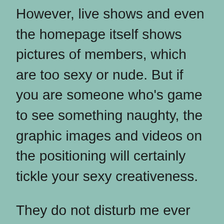However, live shows and even the homepage itself shows pictures of members, which are too sexy or nude. But if you are someone who's game to see something naughty, the graphic images and videos on the positioning will certainly tickle your sexy creativeness.
They do not disturb me ever and that i don't want something. Probably the one site i by no means wanted help they usually very tolerant normally so far as i heard different girls. So, is it one of the good online webcam platforms? We suppose that SexCamRadar can be at the